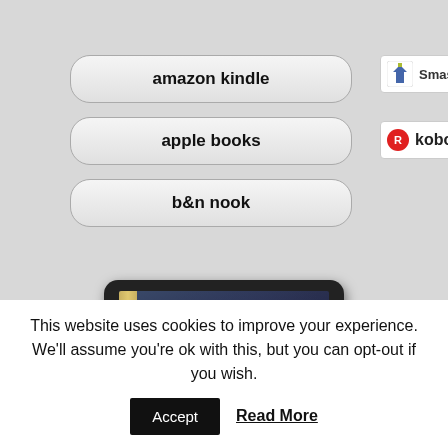[Figure (screenshot): E-book retailer buttons: amazon kindle, apple books, b&n nook, Smashwords BUY NOW, kobo BUY NOW]
[Figure (illustration): Tablet device showing book cover for 'Journey to the Babe' with a dark fantasy background]
This website uses cookies to improve your experience. We'll assume you're ok with this, but you can opt-out if you wish.
Accept
Read More